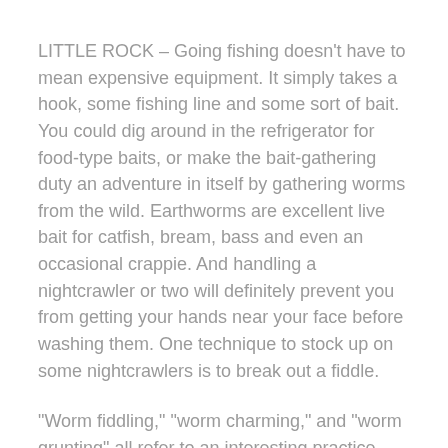LITTLE ROCK – Going fishing doesn't have to mean expensive equipment. It simply takes a hook, some fishing line and some sort of bait. You could dig around in the refrigerator for food-type baits, or make the bait-gathering duty an adventure in itself by gathering worms from the wild. Earthworms are excellent live bait for catfish, bream, bass and even an occasional crappie. And handling a nightcrawler or two will definitely prevent you from getting your hands near your face before washing them. One technique to stock up on some nightcrawlers is to break out a fiddle.
“Worm fiddling,” “worm charming,” and “worm grunting” all refer to an interesting practice some anglers have been using for centuries to get earthworms to come to the surface and show themselves. Simply take a stick that has notches cut along its length and push it into the ground. Then rub another stick along its length to